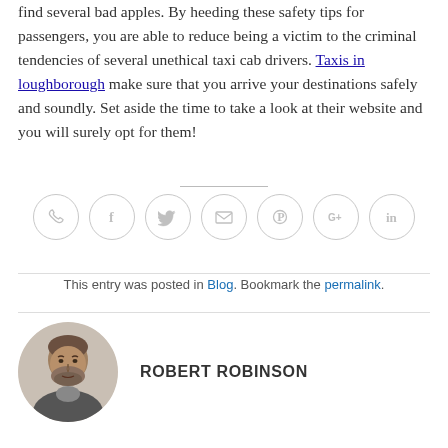find several bad apples. By heeding these safety tips for passengers, you are able to reduce being a victim to the criminal tendencies of several unethical taxi cab drivers. Taxis in loughborough make sure that you arrive your destinations safely and soundly. Set aside the time to take a look at their website and you will surely opt for them!
[Figure (other): Row of 7 social media sharing icons in grey circles: phone, Facebook, Twitter, email, Pinterest, Google+, LinkedIn]
This entry was posted in Blog. Bookmark the permalink.
[Figure (photo): Circular portrait photo of Robert Robinson, a middle-aged man with grey stubble and beard]
ROBERT ROBINSON